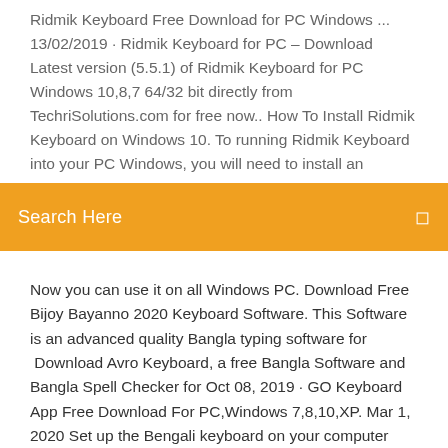Ridmik Keyboard Free Download for PC Windows ... 13/02/2019 · Ridmik Keyboard for PC – Download Latest version (5.5.1) of Ridmik Keyboard for PC Windows 10,8,7 64/32 bit directly from TechriSolutions.com for free now.. How To Install Ridmik Keyboard on Windows 10. To running Ridmik Keyboard into your PC Windows, you will need to install an
Search Here
Now you can use it on all Windows PC. Download Free Bijoy Bayanno 2020 Keyboard Software. This Software is an advanced quality Bangla typing software for  Download Avro Keyboard, a free Bangla Software and Bangla Spell Checker for Oct 08, 2019 · GO Keyboard App Free Download For PC,Windows 7,8,10,XP. Mar 1, 2020 Set up the Bengali keyboard on your computer Shutterstock I did not use the DVD drive of my Lenovo laptop (Windows 7 original) for the last three years. I